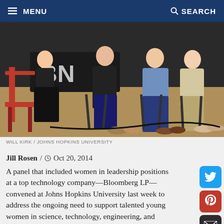MENU   SEARCH
[Figure (photo): Panel of people seated on stage at a Johns Hopkins University event, including women in leadership. A red chair is visible on the left. The background shows a banner with partial text 'BN'.]
WILL KIRK / JOHNS HOPKINS UNIVERSITY
Jill Rosen / Oct 20, 2014
A panel that included women in leadership positions at a top technology company—Bloomberg LP—convened at Johns Hopkins University last week to address the ongoing need to support talented young women in science, technology, engineering, and mathematics.